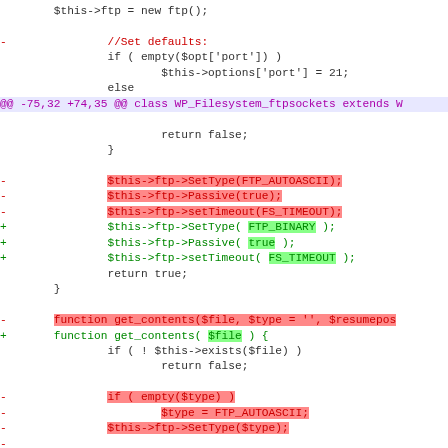[Figure (screenshot): A unified diff / code review screenshot showing PHP code changes to WP_Filesystem_ftpsockets class. Lines highlighted in red are removed lines, lines highlighted in green are added lines. The diff includes changes to FTP type settings (FTP_AUTOASCII to FTP_BINARY), Passive and setTimeout calls, and function signature changes for get_contents.]